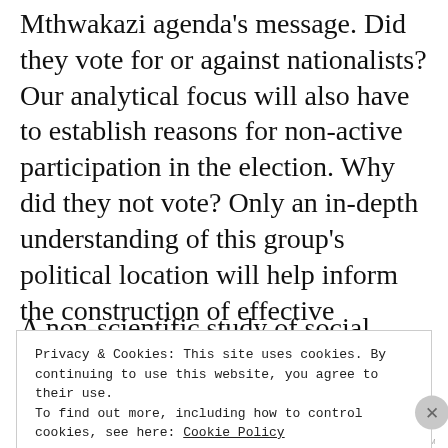Mthwakazi agenda's message. Did they vote for or against nationalists? Our analytical focus will also have to establish reasons for non-active participation in the election. Why did they not vote? Only an in-depth understanding of this group's political location will help inform the construction of effective policies and a campaign strategy that embraces than alienate more of our own people.
A non-scientific study of social media responses
Privacy & Cookies: This site uses cookies. By continuing to use this website, you agree to their use.
To find out more, including how to control cookies, see here: Cookie Policy
Close and accept